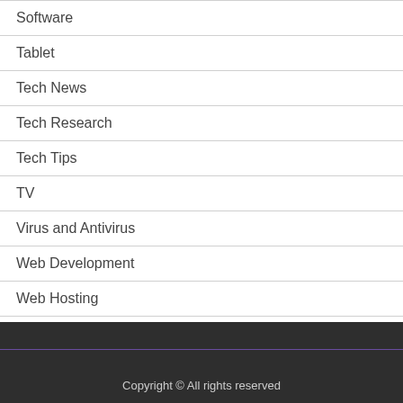Software
Tablet
Tech News
Tech Research
Tech Tips
TV
Virus and Antivirus
Web Development
Web Hosting
Copyright © All rights reserved